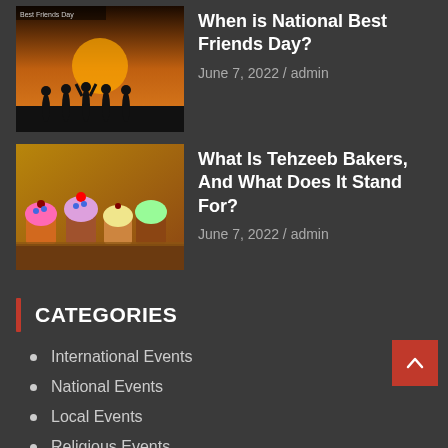[Figure (photo): Silhouettes of friends against a sunset background with text 'Best Friends Day']
When is National Best Friends Day?
June 7, 2022 / admin
[Figure (photo): Colorful cupcakes and pastries on a table]
What Is Tehzeeb Bakers, And What Does It Stand For?
June 7, 2022 / admin
CATEGORIES
International Events
National Events
Local Events
Religious Events
Poetry
Articles
OUR CONTACTS